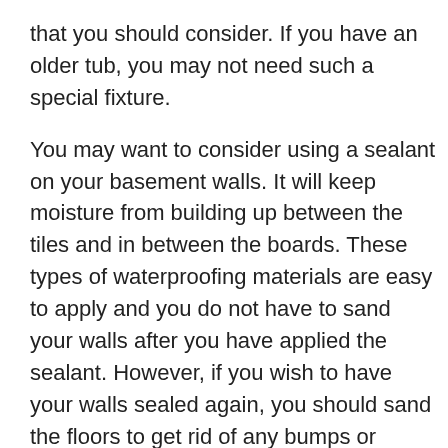that you should consider. If you have an older tub, you may not need such a special fixture.
You may want to consider using a sealant on your basement walls. It will keep moisture from building up between the tiles and in between the boards. These types of waterproofing materials are easy to apply and you do not have to sand your walls after you have applied the sealant. However, if you wish to have your walls sealed again, you should sand the floors to get rid of any bumps or cracks that may have occurred in between the tiles.
A basement wall can be finished with a wood staining product. This is especially useful if your walls are not finished with regular wood. The wood stain will seal your basement walls and prevent them from absorbing moisture between the boards and between the tiles.